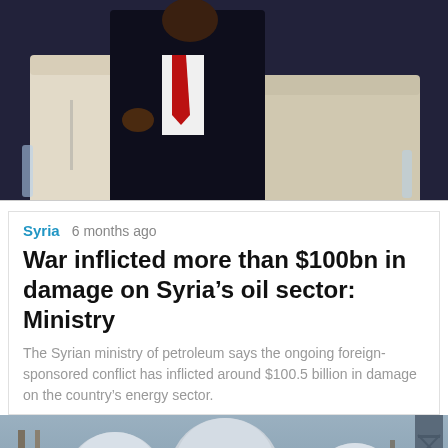[Figure (photo): A person in a dark suit with a white shirt and red tie seated in a beige/cream armchair at what appears to be a conference or panel event. Bottles of water visible on the sides.]
Syria  6 months ago
War inflicted more than $100bn in damage on Syria's oil sector: Ministry
The Syrian ministry of petroleum says the ongoing foreign-sponsored conflict has inflicted around $100.5 billion in damage on the country's energy sector.
[Figure (photo): Industrial oil facility showing large white spherical storage tanks, scaffolding structures, and a tower against a cloudy sky. The lower portion shows dark ground/road.]